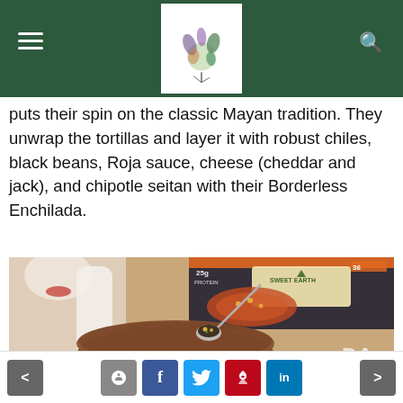Navigation header with menu, logo, and search
puts their spin on the classic Mayan tradition. They unwrap the tortillas and layer it with robust chiles, black beans, Roja sauce, cheese (cheddar and jack), and chipotle seitan with their Borderless Enchilada.
[Figure (photo): Photo of a wooden bowl with enchilada food on a spoon, with a Sweet Earth branded frozen food package visible in the background]
Social sharing buttons: previous, comment, Facebook, Twitter, Pinterest, LinkedIn, next